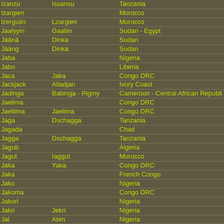| Name | Alternate Name | Country |
| --- | --- | --- |
| Izanzu | Issansu | Tanzania |
| Izargien |  | Morocco |
| Izerguiin | Lzargien | Morocco |
| Jaalyyin | Gaaliin | Sudan - Egypt |
| Jäänä | Dinka | Sudan |
| Jääng | Dinka | Sudan |
| Jaba |  | Nigeria |
| Jabo |  | Liberia |
| Jaca | Jaka | Congo DRC |
| Jackjack | Alladjan | Ivory Coast |
| Jadinga | Babinga - Pigmy | Cameroon - Central African Republi |
| Jaelima |  | Congo DRC |
| Jaellima | Jaelima | Congo DRC |
| Jaga | Dschagga | Tanzania |
| Jagada |  | Chad |
| Jagga | Dschagga | Tanzania |
| Jagub |  | Algeria |
| Jagut | Iaggut | Morocco |
| Jaka | Yaka | Congo DRC |
| Jaka |  | French Congo |
| Jako |  | Nigeria |
| Jakoma |  | Congo DRC |
| Jakori |  | Nigeria |
| Jakri | Jekri | Nigeria |
| Jal | Aten | Nigeria |
| Jallonke | Dialonke | Guinea - Mali - Senegal |
| Jalo |  | Libya |
| Jaloff | Wolof | Senegal |